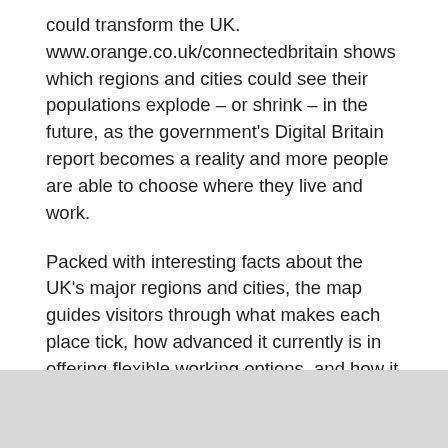could transform the UK. www.orange.co.uk/connectedbritain shows which regions and cities could see their populations explode – or shrink – in the future, as the government's Digital Britain report becomes a reality and more people are able to choose where they live and work.
Packed with interesting facts about the UK's major regions and cities, the map guides visitors through what makes each place tick, how advanced it currently is in offering flexible working options, and how it could change in the future.
Are you dreaming of urban apartment living or is a country cottage more your thing? Do you find the coast